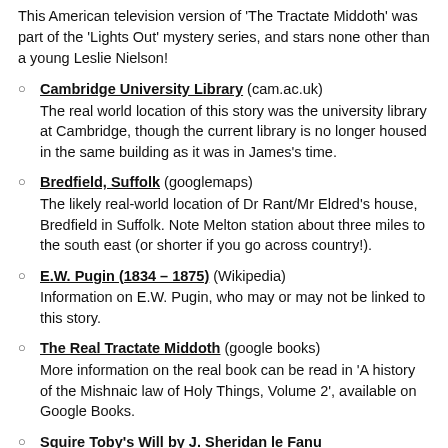This American television version of 'The Tractate Middoth' was part of the 'Lights Out' mystery series, and stars none other than a young Leslie Nielson!
Cambridge University Library (cam.ac.uk) — The real world location of this story was the university library at Cambridge, though the current library is no longer housed in the same building as it was in James's time.
Bredfield, Suffolk (googlemaps) — The likely real-world location of Dr Rant/Mr Eldred's house, Bredfield in Suffolk. Note Melton station about three miles to the south east (or shorter if you go across country!).
E.W. Pugin (1834 – 1875) (Wikipedia) — Information on E.W. Pugin, who may or may not be linked to this story.
The Real Tractate Middoth (google books) — More information on the real book can be read in 'A history of the Mishnaic law of Holy Things, Volume 2', available on Google Books.
Squire Toby's Will by J. Sheridan le Fanu (horrormasters.com) — The plot of this story by M.R. James's favourite author of